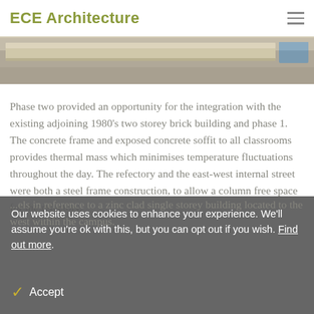ECE Architecture
[Figure (photo): A close-up photo of a concrete or stone architectural surface, with a wooden or light-coloured beam element at the top and a coloured block in the upper right corner.]
Phase two provided an opportunity for the integration with the existing adjoining 1980's two storey brick building and phase 1. The concrete frame and exposed concrete soffit to all classrooms provides thermal mass which minimises temperature fluctuations throughout the day. The refectory and the east-west internal street were both a steel frame construction, to allow a column free space for the refectory.
Our website uses cookies to enhance your experience. We'll assume you're ok with this, but you can opt out if you wish. Find out more.
...els in reference to a zinc clad single storey building located to the west within the campus.
Accept